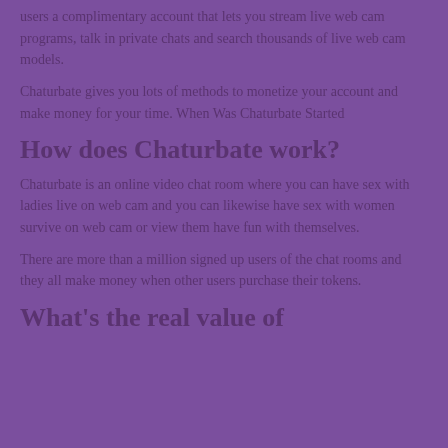users a complimentary account that lets you stream live web cam programs, talk in private chats and search thousands of live web cam models.
Chaturbate gives you lots of methods to monetize your account and make money for your time. When Was Chaturbate Started
How does Chaturbate work?
Chaturbate is an online video chat room where you can have sex with ladies live on web cam and you can likewise have sex with women survive on web cam or view them have fun with themselves.
There are more than a million signed up users of the chat rooms and they all make money when other users purchase their tokens.
What's the real value of